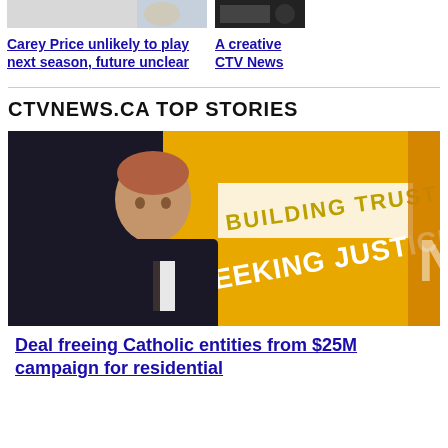[Figure (photo): Partial image of Carey Price story thumbnail, clipped at top]
[Figure (photo): Partial dark image of A creative CTV News story thumbnail, clipped at top]
Carey Price unlikely to play next season, future unclear
A creative CTV News
CTVNEWS.CA TOP STORIES
[Figure (photo): Photo of a man in a dark suit speaking at a podium in front of a yellow banner reading BUILDING TRUST SEEKING JUSTICE]
Deal freeing Catholic entities from $25M campaign for residential